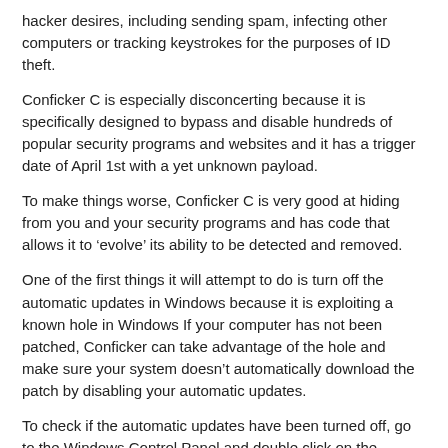hacker desires, including sending spam, infecting other computers or tracking keystrokes for the purposes of ID theft.
Conficker C is especially disconcerting because it is specifically designed to bypass and disable hundreds of popular security programs and websites and it has a trigger date of April 1st with a yet unknown payload.
To make things worse, Conficker C is very good at hiding from you and your security programs and has code that allows it to ‘evolve’ its ability to be detected and removed.
One of the first things it will attempt to do is turn off the automatic updates in Windows because it is exploiting a known hole in Windows If your computer has not been patched, Conficker can take advantage of the hole and make sure your system doesn’t automatically download the patch by disabling your automatic updates.
To check if the automatic updates have been turned off, go to the Windows Control Panel and double click on the Security Center icon to get to the Automatic updates link.
If you find that your automatic updates have been turned off, it doesn’t necessarily mean that you are infected, however, if you know that it was previously set to automatically update and now it’s turned